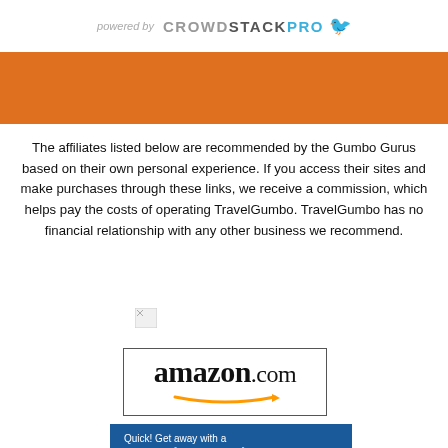powered by CROWDSTACKPRO
[Figure (illustration): Orange decorative banner bar]
The affiliates listed below are recommended by the Gumbo Gurus based on their own personal experience. If you access their sites and make purchases through these links, we receive a commission, which helps pay the costs of operating TravelGumbo. TravelGumbo has no financial relationship with any other business we recommend.
[Figure (photo): Broken/missing image placeholder]
[Figure (logo): amazon.com logo with arrow]
[Figure (illustration): Quick! Get away with a Last-Minute Deal - Go now banner ad]